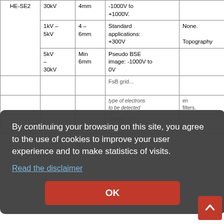|  | kV range | WD | Voltage range / Application | Options |
| --- | --- | --- | --- | --- |
|  | 30kV | 4mm | -1000V to +1000V. |  |
| HE-SE2 | 1kV – 5kV | 4 – 6mm | Standard applications: +300V | None.
Topography |
| HE-SE2 | 5kV – 30kV | Min 6mm | Pseudo BSE image: -1000V to 0V |  |
|  |  |  | FsB grid... |  |
By continuing your browsing on this site, you agree to the use of cookies to improve your user experience and to make statistics of visits.
Read the disclaimer
OK